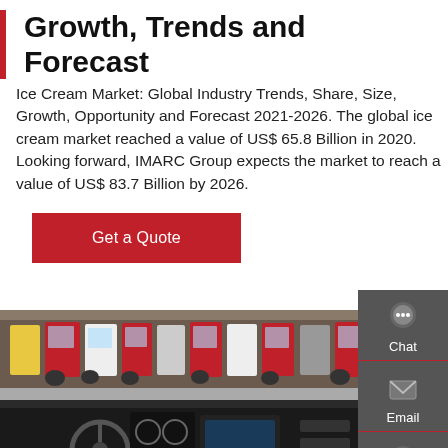Growth, Trends and Forecast
Ice Cream Market: Global Industry Trends, Share, Size, Growth, Opportunity and Forecast 2021-2026. The global ice cream market reached a value of US$ 65.8 Billion in 2020. Looking forward, IMARC Group expects the market to reach a value of US$ 83.7 Billion by 2026.
[Figure (other): Red 'Get a Quote' button]
[Figure (photo): Photo showing a truck interior dashboard view in the foreground, and a large parking lot with many red and white semi-trucks in the background.]
[Figure (infographic): Sidebar with contact icons: Chat, Email, Contact, Top]